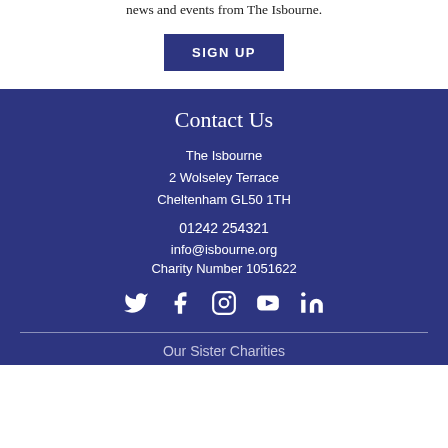Enter your email to sign up to our newsletter for the latest news and events from The Isbourne.
SIGN UP
Contact Us
The Isbourne
2 Wolseley Terrace
Cheltenham GL50 1TH
01242 254321
info@isbourne.org
Charity Number 1051622
[Figure (infographic): Social media icons: Twitter, Facebook, Instagram, YouTube, LinkedIn]
Our Sister Charities